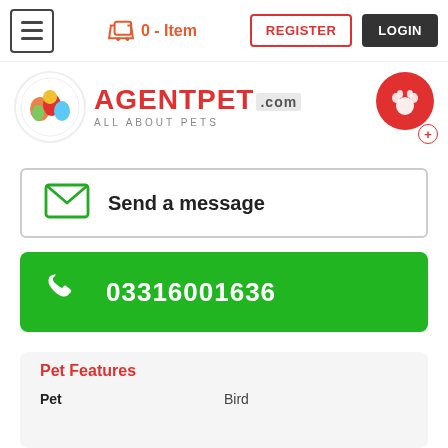≡  🛒 0 - Item  REGISTER  LOGIN
[Figure (logo): AgentPet.com - All About Pets logo with colorful animal icon]
Send a message
03316001636
Pet Features
| Feature | Value |
| --- | --- |
| Pet | Bird |
| Breed | Pigeon |
| Gender | Male |
| Color | White |